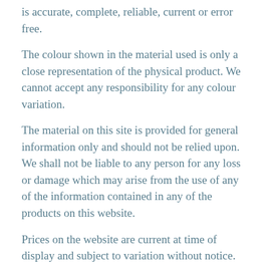is accurate, complete, reliable, current or error free.
The colour shown in the material used is only a close representation of the physical product. We cannot accept any responsibility for any colour variation.
The material on this site is provided for general information only and should not be relied upon. We shall not be liable to any person for any loss or damage which may arise from the use of any of the information contained in any of the products on this website.
Prices on the website are current at time of display and subject to variation without notice.
This site may contain historical information. We reserve the right to modify the contents of this site at any time, but we have no obligation to update any